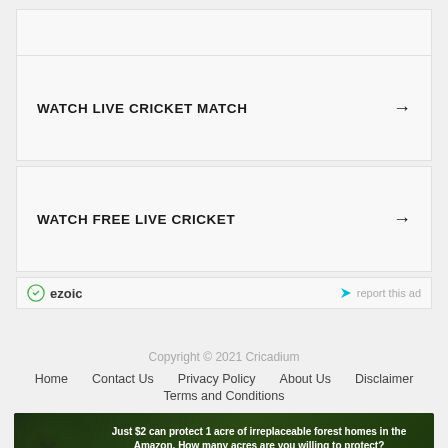[Figure (screenshot): Card button: WATCH LIVE CRICKET MATCH with arrow]
[Figure (screenshot): Card button: WATCH FREE LIVE CRICKET with arrow]
[Figure (infographic): Ezoic ad bar with report this ad link]
Copyright © 2021 Cricadium
Home   Contact Us   Privacy Policy   About Us   Disclaimer   Terms and Conditions
[Figure (infographic): Forest conservation ad banner: Just $2 can protect 1 acre of irreplaceable forest homes in the Amazon. How many acres are you willing to protect? PROTECT FORESTS NOW]